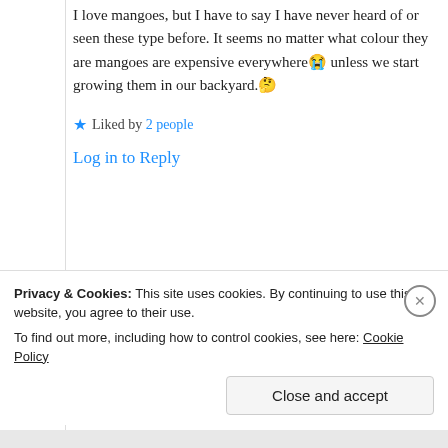I love mangoes, but I have to say I have never heard of or seen these type before. It seems no matter what colour they are mangoes are expensive everywhere 😭 unless we start growing them in our backyard. 🤔
★ Liked by 2 people
Log in to Reply
[Figure (other): Nested comment box with avatar (illustrated face) and commenter name 'Suma Reddy' partially visible]
Privacy & Cookies: This site uses cookies. By continuing to use this website, you agree to their use. To find out more, including how to control cookies, see here: Cookie Policy
Close and accept